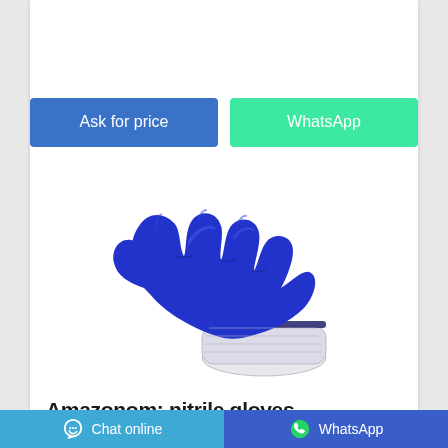[Figure (other): Two action buttons: blue 'Ask for price' button and green 'WhatsApp' button]
[Figure (photo): Blue nitrile-coated work glove with white knit wrist, shown against white background]
Amazonom: nitrile gloves
[Figure (other): Bottom navigation bar with 'Chat online' button (light blue) on the left and 'WhatsApp' button (dark blue) on the right]